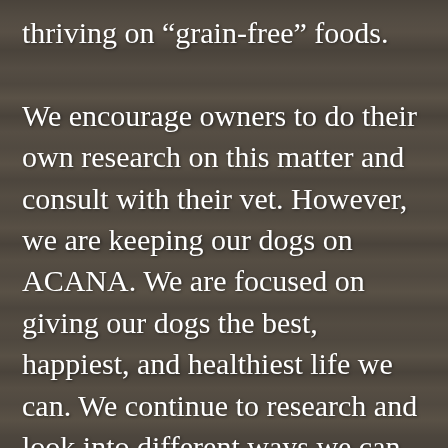thriving on “grain-free” foods.

We encourage owners to do their own research on this matter and consult with their vet. However, we are keeping our dogs on ACANA. We are focused on giving our dogs the best, happiest, and healthiest life we can. We continue to research and look into different ways we can help our four-legged family be healthy. Recently we have added supplements to their diet. More information of what we use is on our